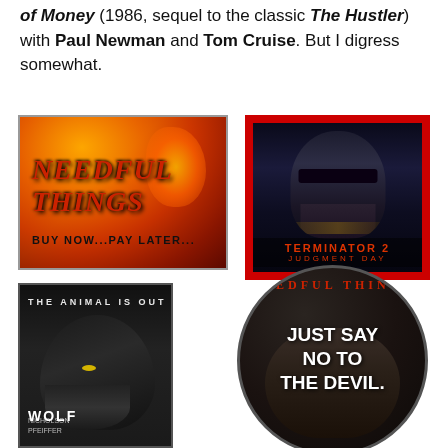of Money (1986, sequel to the classic The Hustler) with Paul Newman and Tom Cruise. But I digress somewhat.
[Figure (photo): Movie merchandise buttons/magnets: Needful Things fire background magnet with 'BUY NOW...PAY LATER...', Terminator 2 Judgment Day button with face in red frame, Wolf movie poster button with 'THE ANIMAL IS OUT', and Needful Things circular button with 'JUST SAY NO TO THE DEVIL.']